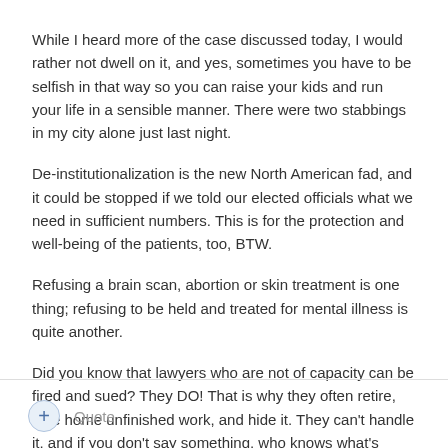While I heard more of the case discussed today, I would rather not dwell on it, and yes, sometimes you have to be selfish in that way so you can raise your kids and run your life in a sensible manner. There were two stabbings in my city alone just last night.
De-institutionalization is the new North American fad, and it could be stopped if we told our elected officials what we need in sufficient numbers. This is for the protection and well-being of the patients, too, BTW.
Refusing a brain scan, abortion or skin treatment is one thing; refusing to be held and treated for mental illness is quite another.
Did you know that lawyers who are not of capacity can be fired and sued? They DO! That is why they often retire, take home unfinished work, and hide it. They can't handle it, and if you don't say something, who knows what's going on.
+ Quote